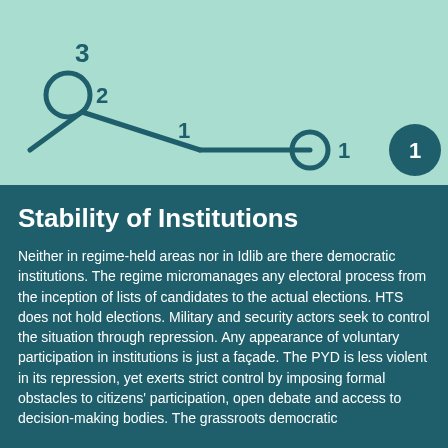[Figure (infographic): A switch/scale diagram on mint green background showing a scale from 1 to 3. Left side: a circle with '3' above it and '2' next to it, connected by an angled line going right and downward labeled '1', then a horizontal line leading to an open circle on the right labeled '1', and a filled dark teal circle on the far right labeled '1'.]
Stability of Institutions
Neither in regime-held areas nor in Idlib are there democratic institutions. The regime micromanages any electoral process from the inception of lists of candidates to the actual elections. HTS does not hold elections. Military and security actors seek to control the situation through repression. Any appearance of voluntary participation in institutions is just a façade. The PYD is less violent in its repression, yet exerts strict control by imposing formal obstacles to citizens' participation, open debate and access to decision-making bodies. The grassroots democratic